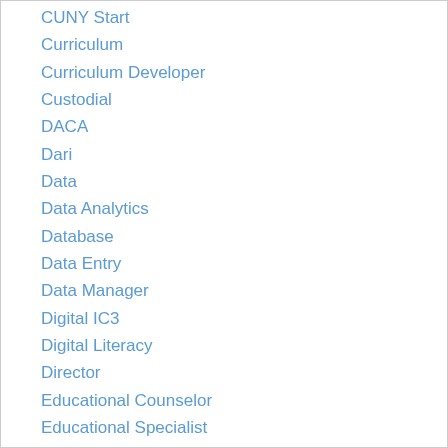CUNY Start
Curriculum
Curriculum Developer
Custodial
DACA
Dari
Data
Data Analytics
Database
Data Entry
Data Manager
Digital IC3
Digital Literacy
Director
Educational Counselor
Educational Specialist
Education And Career Services
Education & Career Services
Education Specialist
ELA
EL/Civics